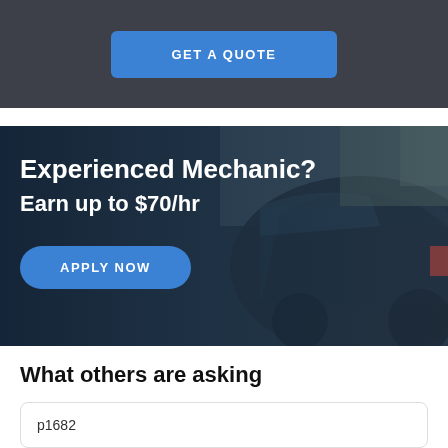[Figure (screenshot): Blue 'GET A QUOTE' button on dark gray navigation bar background]
[Figure (photo): Hero banner with car in background showing text 'Experienced Mechanic? Earn up to $70/hr' and an 'APPLY NOW' button]
What others are asking
p1682